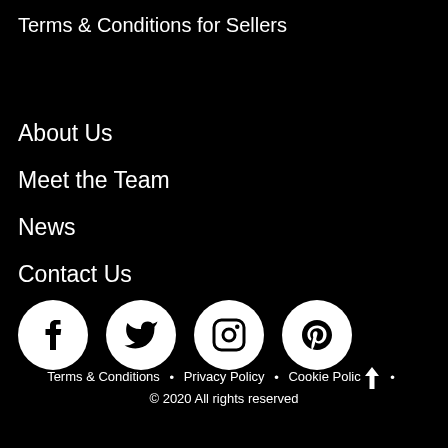Terms & Conditions for Sellers
About Us
Meet the Team
News
Contact Us
[Figure (infographic): Four circular social media icons on black background: Facebook, Twitter, Instagram, Pinterest]
Terms & Conditions • Privacy Policy • Cookie Policy • © 2020 All rights reserved